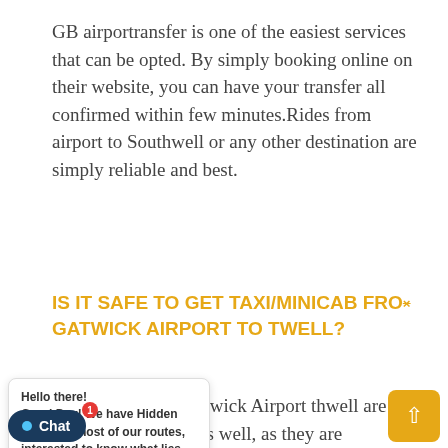GB airportransfer is one of the easiest services that can be opted. By simply booking online on their website, you can have your transfer all confirmed within few minutes.Rides from airport to Southwell or any other destination are simply reliable and best.
IS IT SAFE TO GET TAXI/MINICAB FROM GATWICK AIRPORT TO SOUTHWELL?
...ab services from Gatwick Airport ...thwell are not only competitive ...e as well, as they are registered ...ognized by the Transport for Gatwick authorities.
[Figure (screenshot): Chat popup overlay showing 'Hello there! Good Day! We have Hidden offers on most of our routes, interested to know what lies...' with a text input area and icons]
[Figure (screenshot): Chat widget button at bottom left showing a dot icon and 'Chat' text with a red notification badge showing '1', and a yellow scroll-to-top button at bottom right]